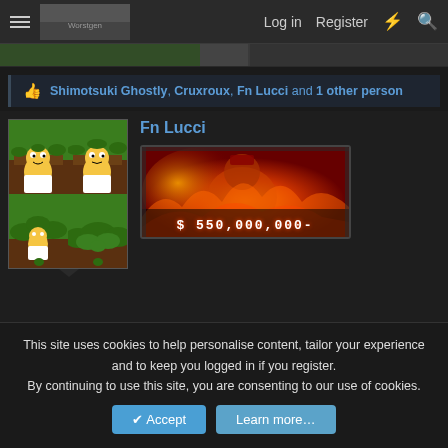☰  [site logo]  Log in  Register  ⚡  🔍
👍 Shimotsuki Ghostly, Cruxroux, Fn Lucci and 1 other person
Fn Lucci
[Figure (illustration): Four-panel grid showing Homer Simpson cartoon backing into bushes meme]
[Figure (illustration): Bounty banner image with fire/flames background showing $ 550,000,000-]
$ 550,000,000-
May 12, 2022
#8,537
This site uses cookies to help personalise content, tailor your experience and to keep you logged in if you register.
By continuing to use this site, you are consenting to our use of cookies.
Accept  Learn more…